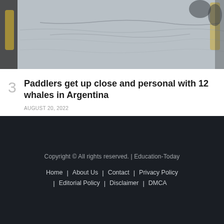[Figure (photo): Overhead or close-up photo of paddlers near water with kayak paddles visible, muted gray-blue tones]
Paddlers get up close and personal with 12 whales in Argentina
AUGUST 20, 2022
Copyright © All rights reserved. | Education-Today
Home | About Us | Contact | Privacy Policy | Editorial Policy | Disclaimer | DMCA